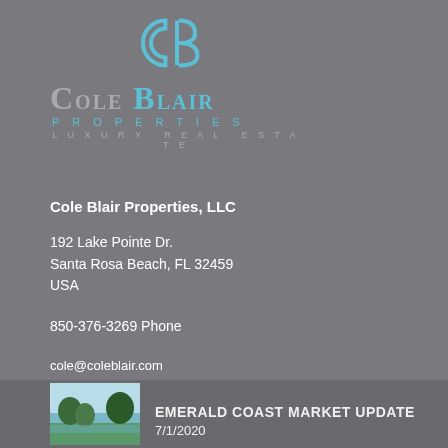[Figure (logo): Cole Blair Properties logo with CB monogram icon in teal/grey, company name in grey and teal, PROPERTIES and LUXURY REAL ESTATE taglines]
Cole Blair Properties, LLC
192 Lake Pointe Dr.
Santa Rosa Beach, FL 32459
USA
850-376-3269 Phone
cole@coleblair.com
Our Latest Blog Posts
[Figure (photo): Thumbnail photo of coastal/beach scene with trees and water]
EMERALD COAST MARKET UPDATE
7/1/2020